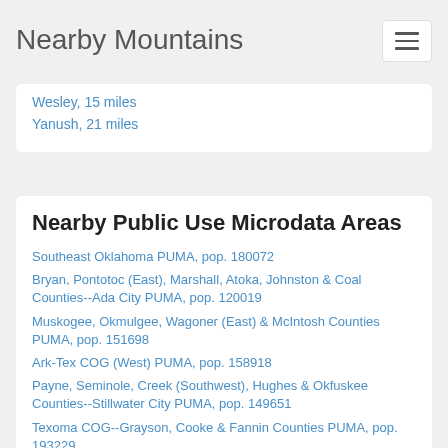Nearby Mountains
Wesley, 15 miles
Yanush, 21 miles
Nearby Public Use Microdata Areas
Southeast Oklahoma PUMA, pop. 180072
Bryan, Pontotoc (East), Marshall, Atoka, Johnston & Coal Counties--Ada City PUMA, pop. 120019
Muskogee, Okmulgee, Wagoner (East) & McIntosh Counties PUMA, pop. 151698
Ark-Tex COG (West) PUMA, pop. 158918
Payne, Seminole, Creek (Southwest), Hughes & Okfuskee Counties--Stillwater City PUMA, pop. 149651
Texoma COG--Grayson, Cooke & Fannin Counties PUMA, pop. 193229
Logan, Polk, Franklin, Sevier, Howard & Scott Counties PUMA, pop. 103220
Carter, Garvin, Murray, Love & Pontotoc (West) Counties PUMA, pop. 104837
Cherokee, Sequoyah & Adair Counties PUMA, pop. 112061